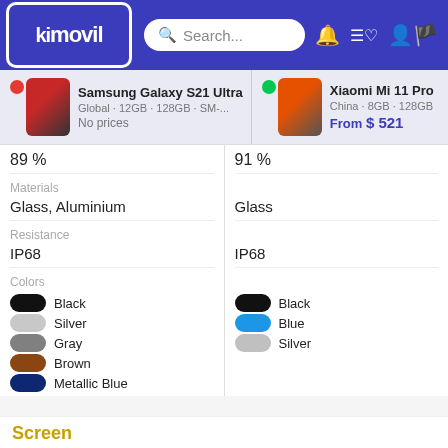kimovil — Search bar — navigation icons
Samsung Galaxy S21 Ultra · Global · 12GB · 128GB · SM-... · No prices
Xiaomi Mi 11 Pro · China · 8GB · 128GB · From $521
|  | Samsung Galaxy S21 Ultra | Xiaomi Mi 11 Pro |
| --- | --- | --- |
|  | 89 % | 91 % |
| Materials | Glass, Aluminium | Glass |
| Resistance | IP68 | IP68 |
| Colors | Black, Silver, Gray, Brown, Metallic Blue | Black, Blue, Silver |
Screen